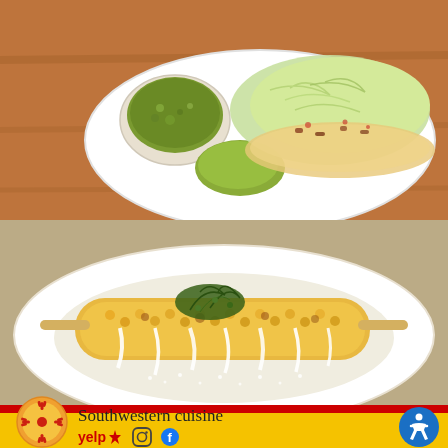[Figure (photo): Overhead shot of Mexican food: tacos with shredded cabbage, guacamole, and a small bowl of green salsa/tomatillo sauce on a white oval plate, on a wooden table]
[Figure (photo): Close-up of elote (Mexican street corn) on a white plate — a corn cob on a stick covered with cotija cheese, crema, and cilantro garnish]
Southwestern cuisine
[Figure (logo): Zia Sun symbol (New Mexico symbol) — orange/red sun symbol on yellow background inside a circular orange border]
[Figure (logo): Yelp logo with burst/star icon]
[Figure (logo): Instagram logo (camera outline)]
[Figure (logo): Facebook logo (f in blue circle)]
[Figure (logo): Accessibility icon — blue circle with white person/wheelchair accessibility symbol]